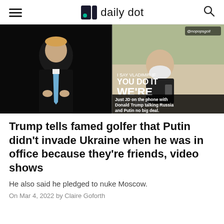daily dot
[Figure (photo): Split composite image: left side shows Donald Trump in a dark suit with a blue tie, clapping on a dark stage; right side shows a social media video screenshot of an older man at a table with overlaid text reading 'I SAY VLADIMIR IF YOU DO IT WE'RE HITTING MOSCOW.' and caption 'Just JD on the phone with Donald Trump talking Russia and Putin no big deal.' with @nopopsgolf watermark.]
Trump tells famed golfer that Putin didn't invade Ukraine when he was in office because they're friends, video shows
He also said he pledged to nuke Moscow.
On Mar 4, 2022 by Claire Goforth